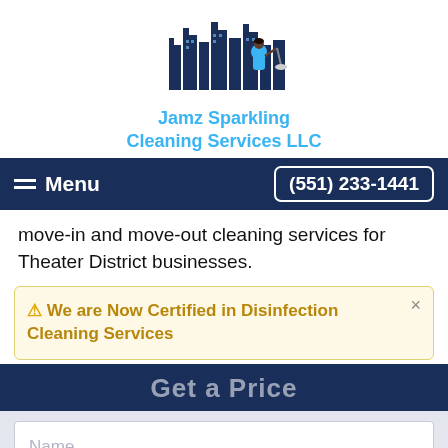[Figure (logo): Jamz Sparkling Cleaning Services LLC logo — cityscape silhouette with a cleaning person figure, blue and dark navy tones]
Jamz Sparkling Cleaning Services LLC
[Figure (infographic): Navigation bar with hamburger menu icon and Menu label on left, phone number (551) 233-1441 button on right, dark navy background]
move-in and move-out cleaning services for Theater District businesses.
⚠ We are Now Certified in Disinfection Cleaning Services
Get a Price
Name
Email
Phone Number